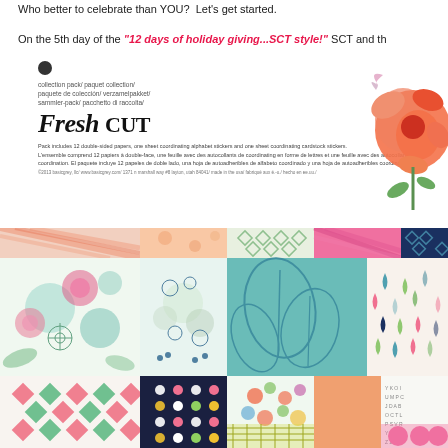Who better to celebrate than YOU?  Let's get started.
On the 5th day of the "12 days of holiday giving...SCT style!" SCT and th
[Figure (photo): Product packaging for 'Fresh Cut' collection pack by BasicGrey, showing label with multilingual text, decorative script logo, pack description, and a decorative orange/coral flower in the upper right corner.]
[Figure (photo): Grid of patterned scrapbook paper swatches from the Fresh Cut collection, showing various floral, geometric, and abstract patterns in colors including teal, coral, pink, green, navy, and cream.]